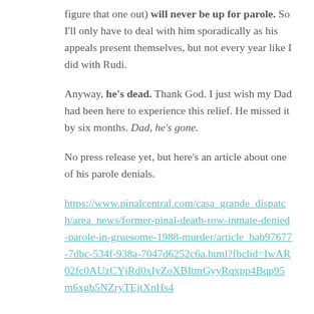figure that one out) will never be up for parole. So I'll only have to deal with him sporadically as his appeals present themselves, but not every year like I did with Rudi.
Anyway, he's dead. Thank God. I just wish my Dad had been here to experience this relief. He missed it by six months. Dad, he's gone.
No press release yet, but here's an article about one of his parole denials.
https://www.pinalcentral.com/casa_grande_dispatch/area_news/former-pinal-death-row-inmate-denied-parole-in-gruesome-1988-murder/article_bab97677-7dbc-534f-938a-7047d6252c6a.html?fbclid=IwAR02fc0AUzCYjRd0xIyZoXBItmGyyRqxpp4Bqp95m6xgb5NZryTEjtXnHs4